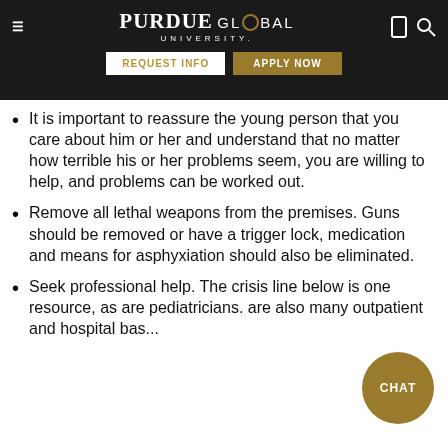Purdue Global University — REQUEST INFO | APPLY NOW
It is important to reassure the young person that you care about him or her and understand that no matter how terrible his or her problems seem, you are willing to help, and problems can be worked out.
Remove all lethal weapons from the premises. Guns should be removed or have a trigger lock, medication and means for asphyxiation should also be eliminated.
Seek professional help. The crisis line below is one resource, as are pediatricians. are also many outpatient and hospital bas...